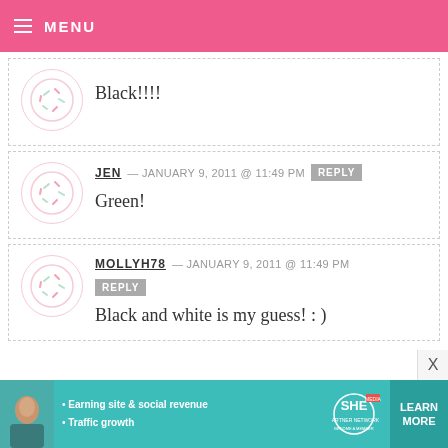MENU
Black!!!!
JEN — JANUARY 9, 2011 @ 11:49 PM
Green!
MOLLYH78 — JANUARY 9, 2011 @ 11:49 PM
Black and white is my guess! : )
[Figure (infographic): SHE Partner Network advertisement banner with photo of woman, bullets: Earning site & social revenue, Traffic growth. Learn More button.]